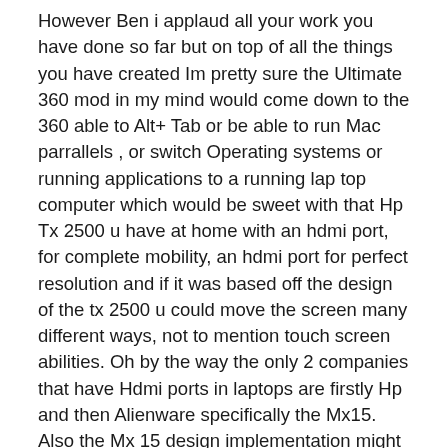However Ben i applaud all your work you have done so far but on top of all the things you have created Im pretty sure the Ultimate 360 mod in my mind would come down to the 360 able to Alt+ Tab or be able to run Mac parrallels , or switch Operating systems or running applications to a running lap top computer which would be sweet with that Hp Tx 2500 u have at home with an hdmi port, for complete mobility, an hdmi port for perfect resolution and if it was based off the design of the tx 2500 u could move the screen many different ways, not to mention touch screen abilities. Oh by the way the only 2 companies that have Hdmi ports in laptops are firstly Hp and then Alienware specifically the Mx15. Also the Mx 15 design implementation might help because u can remove the disk drive for an added 500 gb hard drive hot swappable bay. Ben if u create and implement those things into this u will forever be known as the genius that changed xbox 360 portability. Although i dont know ben whats better the Desktop or Laptop Hard Drive or Using the xbox 360 hard